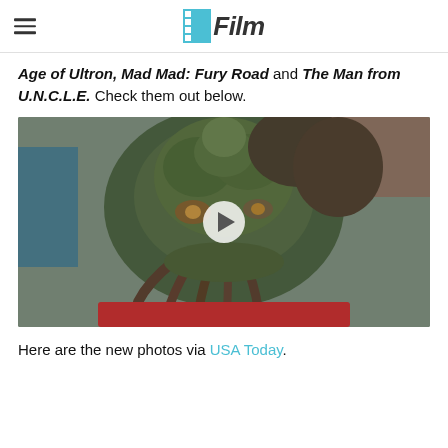/Film
Age of Ultron, Mad Mad: Fury Road and The Man from U.N.C.L.E. Check them out below.
[Figure (photo): Video thumbnail showing a close-up of an alien/monster creature with green scaled armor and tentacle-like appendages around its mouth, with a white play button overlay in the center.]
Here are the new photos via USA Today.